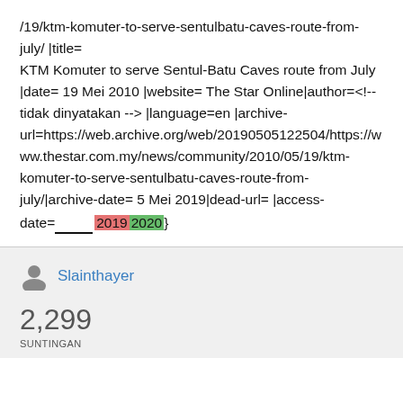/19/ktm-komuter-to-serve-sentulbatu-caves-route-from-july/ |title= KTM Komuter to serve Sentul-Batu Caves route from July |date= 19 Mei 2010 |website= The Star Online|author=<!-- tidak dinyatakan --> |language=en |archive-url=https://web.archive.org/web/20190505122504/https://www.thestar.com.my/news/community/2010/05/19/ktm-komuter-to-serve-sentulbatu-caves-route-from-july/|archive-date= 5 Mei 2019|dead-url= |access-date=_____ 2019 2020}
Slainthayer
2,299 SUNTINGAN